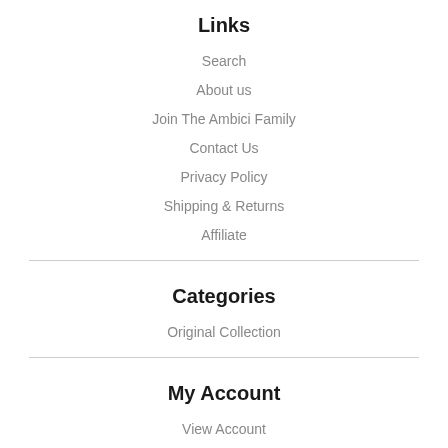Links
Search
About us
Join The Ambici Family
Contact Us
Privacy Policy
Shipping & Returns
Affiliate
Categories
Original Collection
My Account
View Account
My Cart
AMBICI